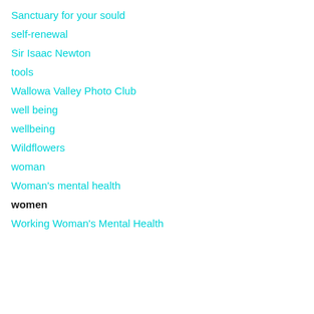Sanctuary for your sould
self-renewal
Sir Isaac Newton
tools
Wallowa Valley Photo Club
well being
wellbeing
Wildflowers
woman
Woman's mental health
women
Working Woman's Mental Health